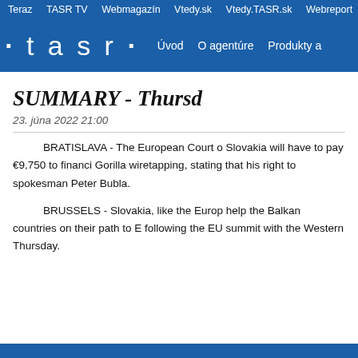Teraz  TASR TV  Webmagazín  Vtedy.sk  Vtedy.TASR.sk  Webreport
· t a s r ·  Úvod  O agentúre  Produkty a
SUMMARY - Thursd
23. júna 2022 21:00
BRATISLAVA - The European Court o Slovakia will have to pay €9,750 to financi Gorilla wiretapping, stating that his right to spokesman Peter Bubla.
BRUSSELS - Slovakia, like the Europ help the Balkan countries on their path to E following the EU summit with the Western Thursday.